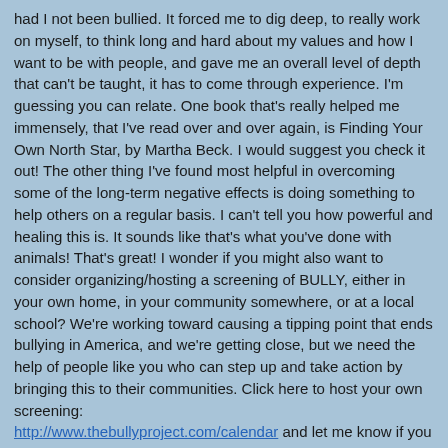had I not been bullied. It forced me to dig deep, to really work on myself, to think long and hard about my values and how I want to be with people, and gave me an overall level of depth that can't be taught, it has to come through experience. I'm guessing you can relate. One book that's really helped me immensely, that I've read over and over again, is Finding Your Own North Star, by Martha Beck. I would suggest you check it out! The other thing I've found most helpful in overcoming some of the long-term negative effects is doing something to help others on a regular basis. I can't tell you how powerful and healing this is. It sounds like that's what you've done with animals! That's great! I wonder if you might also want to consider organizing/hosting a screening of BULLY, either in your own home, in your community somewhere, or at a local school? We're working toward causing a tipping point that ends bullying in America, and we're getting close, but we need the help of people like you who can step up and take action by bringing this to their communities. Click here to host your own screening: http://www.thebullyproject.com/calendar and let me know if you have any other questions. Thanks so much! Best, Rose The BULLY Project